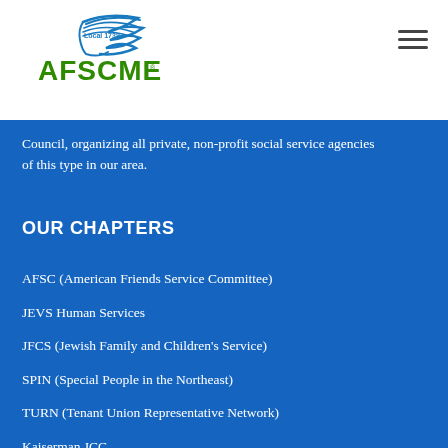[Figure (logo): AFSCME Local 1739 logo with blue bird/wing graphic and green AFSCME text]
Council, organizing all private, non-profit social service agencies of this type in our area.
OUR CHAPTERS
AFSC (American Friends Service Committee)
JEVS Human Services
JFCS (Jewish Family and Children's Service)
SPIN (Special People in the Northeast)
TURN (Tenant Union Representative Network)
Kaiserman JCC